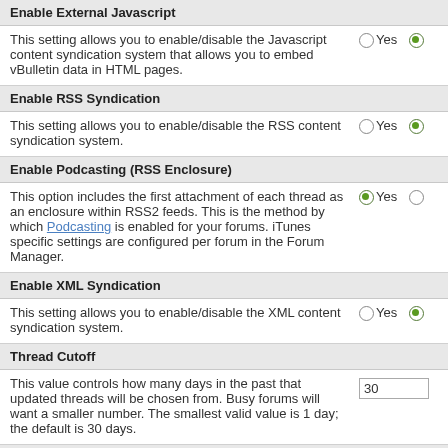Enable External Javascript
This setting allows you to enable/disable the Javascript content syndication system that allows you to embed vBulletin data in HTML pages.
Enable RSS Syndication
This setting allows you to enable/disable the RSS content syndication system.
Enable Podcasting (RSS Enclosure)
This option includes the first attachment of each thread as an enclosure within RSS2 feeds. This is the method by which Podcasting is enabled for your forums. iTunes specific settings are configured per forum in the Forum Manager.
Enable XML Syndication
This setting allows you to enable/disable the XML content syndication system.
Thread Cutoff
This value controls how many days in the past that updated threads will be chosen from. Busy forums will want a smaller number. The smallest valid value is 1 day; the default is 30 days.
Thread Cache Lifespan
This setting controls how long thread content will be